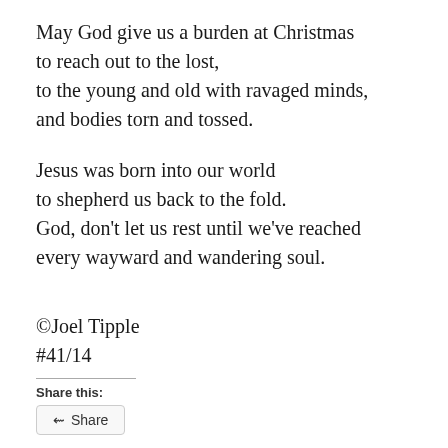May God give us a burden at Christmas
to reach out to the lost,
to the young and old with ravaged minds,
and bodies torn and tossed.

Jesus was born into our world
to shepherd us back to the fold.
God, don't let us rest until we've reached
every wayward and wandering soul.
©Joel Tipple
#41/14
Share this:
Share